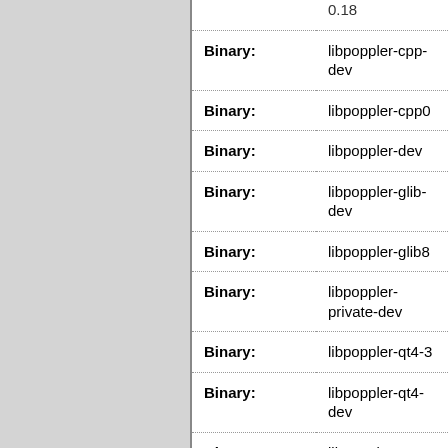| Field | Value |
| --- | --- |
| Binary: | libpoppler-cpp-dev |
| Binary: | libpoppler-cpp0 |
| Binary: | libpoppler-dev |
| Binary: | libpoppler-glib-dev |
| Binary: | libpoppler-glib8 |
| Binary: | libpoppler-private-dev |
| Binary: | libpoppler-qt4-3 |
| Binary: | libpoppler-qt4-dev |
| Binary: | libpoppler19 |
| Binary: | poppler-dbg |